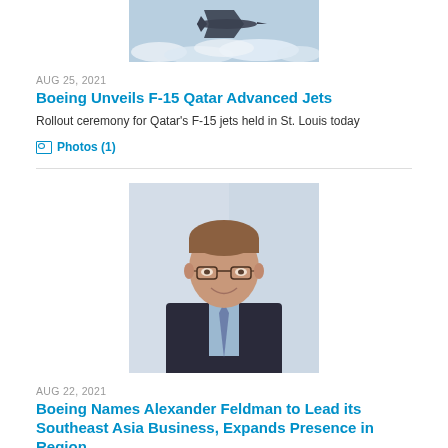[Figure (photo): Aerial photo of F-15 jet fighter aircraft above clouds]
AUG 25, 2021
Boeing Unveils F-15 Qatar Advanced Jets
Rollout ceremony for Qatar's F-15 jets held in St. Louis today
Photos (1)
[Figure (photo): Professional headshot portrait of Alexander Feldman, a man wearing glasses and a dark suit with blue shirt and patterned tie]
AUG 22, 2021
Boeing Names Alexander Feldman to Lead its Southeast Asia Business, Expands Presence in Region
- Feldman led the US-ASEAN Business Council, served in senior roles in the US Departments of State and Commerce,